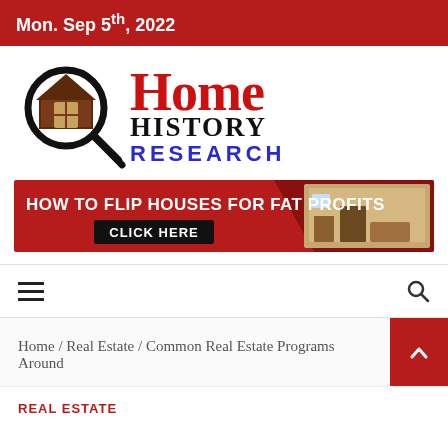Mon. Sep 5th, 2022
[Figure (logo): Home History Research logo with magnifying glass over a house icon and stylized text]
[Figure (infographic): Red banner advertisement: HOW TO FLIP HOUSES FOR FAT PROFITS — CLICK HERE]
≡   🔍
Home / Real Estate / Common Real Estate Programs Around
REAL ESTATE